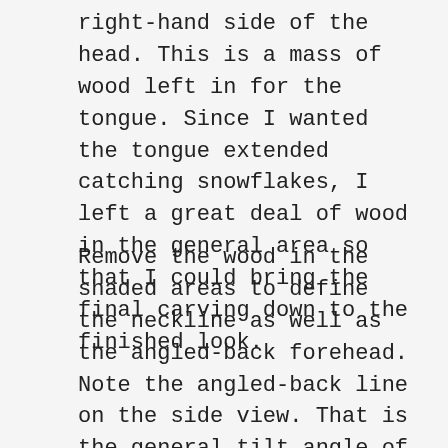right-hand side of the head. This is a mass of wood left in for the tongue. Since I wanted the tongue extended catching snowflakes, I left a great deal of wood in the general area so that I could bring the final carving down to the finished look.
Remove the wood in the shaded areas to define the neckline as well as the angled-back forehead. Note the angled-back line on the side view. That is the general tilt angle of the head. You can see how the shaded part of the forehead is aligned at the same angle.